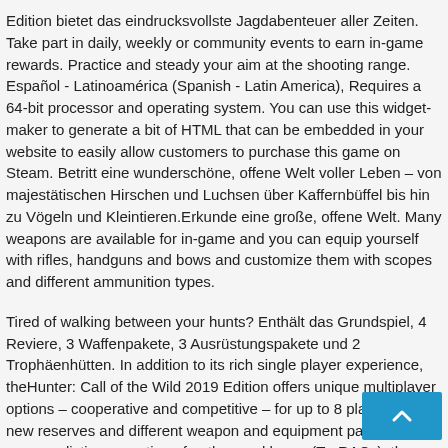Edition bietet das eindrucksvollste Jagdabenteuer aller Zeiten. Take part in daily, weekly or community events to earn in-game rewards. Practice and steady your aim at the shooting range. Español - Latinoamérica (Spanish - Latin America), Requires a 64-bit processor and operating system. You can use this widget-maker to generate a bit of HTML that can be embedded in your website to easily allow customers to purchase this game on Steam. Betritt eine wunderschöne, offene Welt voller Leben – von majestätischen Hirschen und Luchsen über Kaffernbüffel bis hin zu Vögeln und Kleintieren.Erkunde eine große, offene Welt. Many weapons are available for in-game and you can equip yourself with rifles, handguns and bows and customize them with scopes and different ammunition types.
Tired of walking between your hunts? Enthält das Grundspiel, 4 Reviere, 3 Waffenpakete, 3 Ausrüstungspakete und 2 Trophäenhütten. In addition to its rich single player experience, theHunter: Call of the Wild 2019 Edition offers unique multiplayer options – cooperative and competitive – for up to 8 players. From new reserves and different weapon and equipment packs to a more realistic generation of antlers and horns (TruRACs), the team is … - 84% of the 46,120 user reviews for this game are positive. Jede stellt dich vor andere Herausforderungen. Werde ein Jäger.